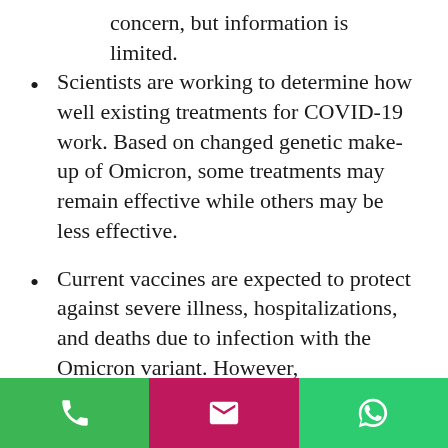concern, but information is limited.
Scientists are working to determine how well existing treatments for COVID-19 work. Based on changed genetic make-up of Omicron, some treatments may remain effective while others may be less effective.
Current vaccines are expected to protect against severe illness, hospitalizations, and deaths due to infection with the Omicron variant. However, breakthrough infections in